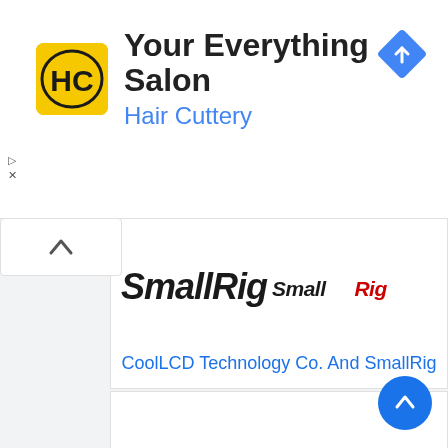[Figure (screenshot): Advertisement banner for Hair Cuttery - Your Everything Salon, with HC logo (yellow square), navigation diamond icon, and ad controls]
[Figure (logo): SmallRig logo in black and red italic text]
CoolLCD Technology Co. And SmallRig
[Figure (logo): Topps logo in large bold black italic font]
Topps
[Figure (logo): Cigar Page logo in red and blue bold text on white background with border]